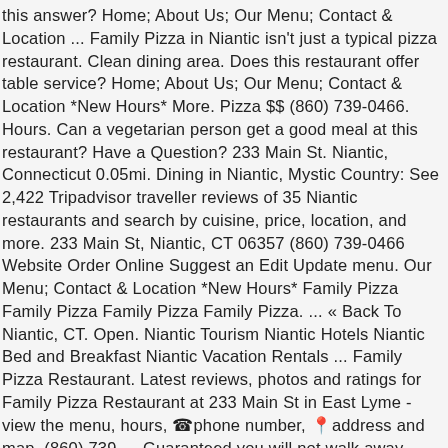this answer? Home; About Us; Our Menu; Contact & Location ... Family Pizza in Niantic isn't just a typical pizza restaurant. Clean dining area. Does this restaurant offer table service? Home; About Us; Our Menu; Contact & Location *New Hours* More. Pizza $$ (860) 739-0466. Hours. Can a vegetarian person get a good meal at this restaurant? Have a Question? 233 Main St. Niantic, Connecticut 0.05mi. Dining in Niantic, Mystic Country: See 2,422 Tripadvisor traveller reviews of 35 Niantic restaurants and search by cuisine, price, location, and more. 233 Main St, Niantic, CT 06357 (860) 739-0466 Website Order Online Suggest an Edit Update menu. Our Menu; Contact & Location *New Hours* Family Pizza Family Pizza Family Pizza Family Pizza. ... « Back To Niantic, CT. Open. Niantic Tourism Niantic Hotels Niantic Bed and Breakfast Niantic Vacation Rentals ... Family Pizza Restaurant. Latest reviews, photos and ratings for Family Pizza Restaurant at 233 Main St in East Lyme - view the menu, hours, ☎phone number, 📍address and map. (860) 739 ... Guaranteed you will not walk away hungry. Family Pizza Restaurant ...